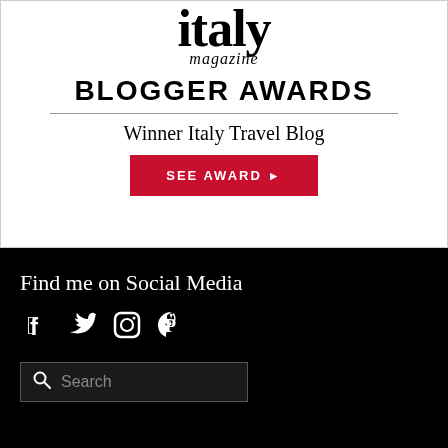[Figure (logo): Italy Magazine logo with italic 'magazine' subtitle]
BLOGGER AWARDS
Winner Italy Travel Blog
SEE AWARD ▶
Find me on Social Media
[Figure (infographic): Social media icons: Facebook, Twitter, Instagram, Pinterest]
Search